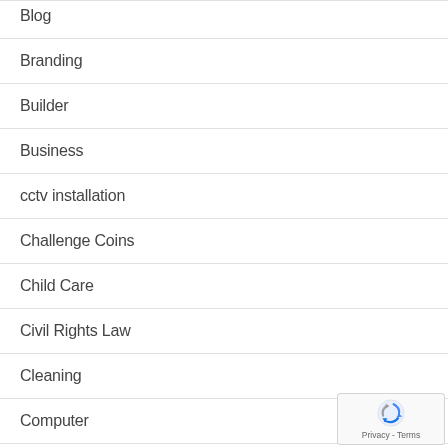Blog
Branding
Builder
Business
cctv installation
Challenge Coins
Child Care
Civil Rights Law
Cleaning
Computer
[Figure (other): reCAPTCHA privacy badge with rotating arrows icon and Privacy - Terms text]